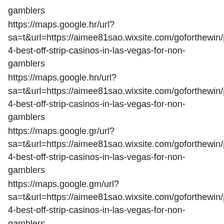gamblers
https://maps.google.hr/url?
sa=t&url=https://aimee81sao.wixsite.com/goforthewin/post/th
4-best-off-strip-casinos-in-las-vegas-for-non-
gamblers
https://maps.google.hn/url?
sa=t&url=https://aimee81sao.wixsite.com/goforthewin/post/th
4-best-off-strip-casinos-in-las-vegas-for-non-
gamblers
https://maps.google.gr/url?
sa=t&url=https://aimee81sao.wixsite.com/goforthewin/post/th
4-best-off-strip-casinos-in-las-vegas-for-non-
gamblers
https://maps.google.gm/url?
sa=t&url=https://aimee81sao.wixsite.com/goforthewin/post/th
4-best-off-strip-casinos-in-las-vegas-for-non-
gamblers
https://maps.google.gl/url?
sa=t&url=https://aimee81sao.wixsite.com/goforthewin/post/th